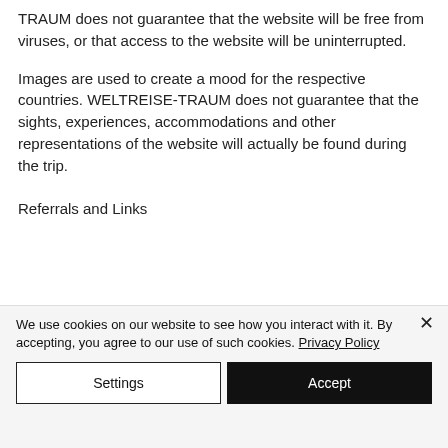TRAUM does not guarantee that the website will be free from viruses, or that access to the website will be uninterrupted.
Images are used to create a mood for the respective countries. WELTREISE-TRAUM does not guarantee that the sights, experiences, accommodations and other representations of the website will actually be found during the trip.
Referrals and Links
We use cookies on our website to see how you interact with it. By accepting, you agree to our use of such cookies. Privacy Policy